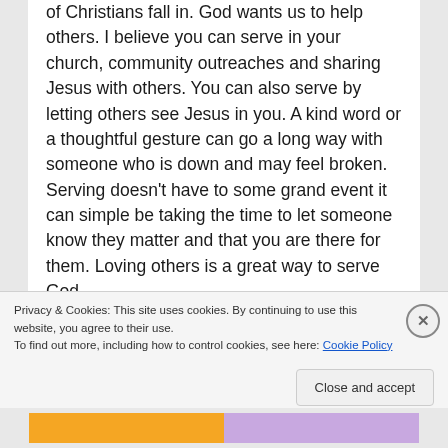of Christians fall in. God wants us to help others. I believe you can serve in your church, community outreaches and sharing Jesus with others. You can also serve by letting others see Jesus in you. A kind word or a thoughtful gesture can go a long way with someone who is down and may feel broken. Serving doesn't have to some grand event it can simple be taking the time to let someone know they matter and that you are there for them. Loving others is a great way to serve God.
[Figure (screenshot): Dark/black video player bar with a small circular icon on the left]
Privacy & Cookies: This site uses cookies. By continuing to use this website, you agree to their use.
To find out more, including how to control cookies, see here: Cookie Policy
Close and accept